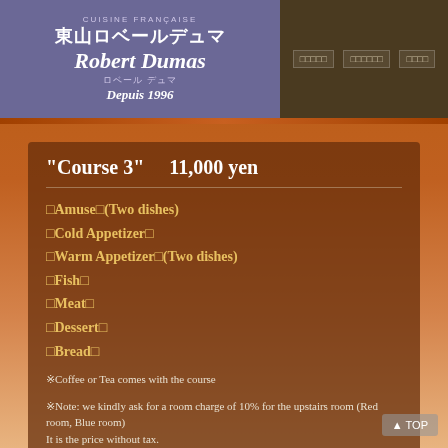CUISINE FRANÇAISE 東山ロベールデュマ Robert Dumas ロベール デュマ Depuis 1996
"Course 3"   11,000 yen
□Amuse□(Two dishes)
□Cold Appetizer□
□Warm Appetizer□(Two dishes)
□Fish□
□Meat□
□Dessert□
□Bread□
※Coffee or Tea comes with the course
※Note: we kindly ask for a room charge of 10% for the upstairs room (Red room, Blue room)
It is the price without tax.